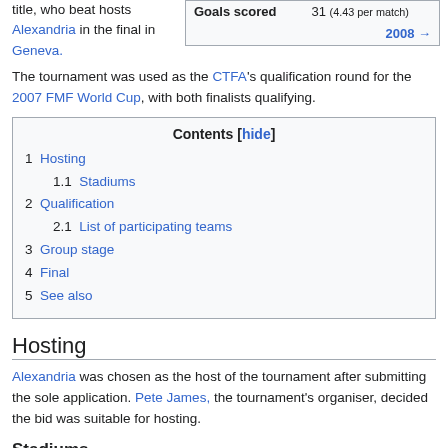title, who beat hosts Alexandria in the final in Geneva.
| Goals scored | 31 (4.43 per match) |
| --- | --- |
|  | 2008 → |
The tournament was used as the CTFA's qualification round for the 2007 FMF World Cup, with both finalists qualifying.
Contents [hide]
1  Hosting
1.1  Stadiums
2  Qualification
2.1  List of participating teams
3  Group stage
4  Final
5  See also
Hosting
Alexandria was chosen as the host of the tournament after submitting the sole application. Pete James, the tournament's organiser, decided the bid was suitable for hosting.
Stadiums